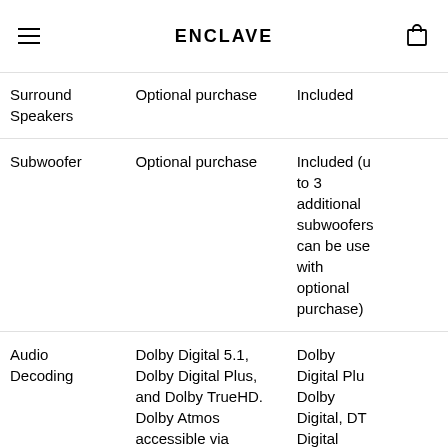ENCLAVE
|  |  |  |
| --- | --- | --- |
| Surround Speakers | Optional purchase | Included |
| Subwoofer | Optional purchase | Included (up to 3 additional subwoofers can be used with optional purchase) |
| Audio Decoding | Dolby Digital 5.1, Dolby Digital Plus, and Dolby TrueHD. Dolby Atmos accessible via metadata encoded within Dolby Digital Plus or Dolby TrueHD. No... | Dolby Digital Plus, Dolby Digital, DTS Digital Surround... |